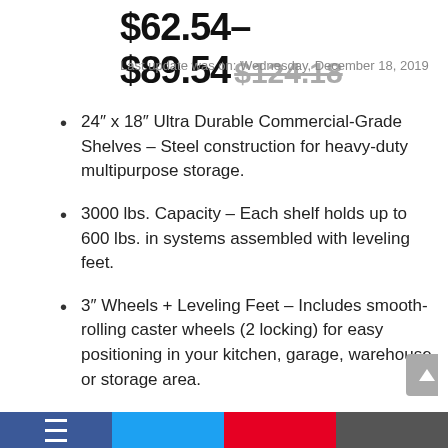$62.54–$89.54 $124.18
Last update was on: Wednesday, December 18, 2019
24" x 18" Ultra Durable Commercial-Grade Shelves – Steel construction for heavy-duty multipurpose storage.
3000 lbs. Capacity – Each shelf holds up to 600 lbs. in systems assembled with leveling feet.
3" Wheels + Leveling Feet – Includes smooth-rolling caster wheels (2 locking) for easy positioning in your kitchen, garage, warehouse, or storage area.
Ultra Zinc Plating – Zinc plating provides necessary corrosion resistance in dry